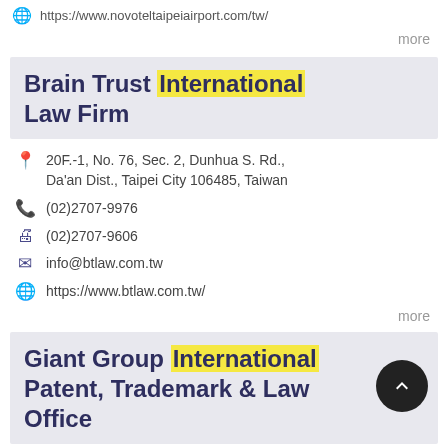https://www.novoteltaipeiairport.com/tw/
more
Brain Trust International Law Firm
20F.-1, No. 76, Sec. 2, Dunhua S. Rd., Da'an Dist., Taipei City 106485, Taiwan
(02)2707-9976
(02)2707-9606
info@btlaw.com.tw
https://www.btlaw.com.tw/
more
Giant Group International Patent, Trademark & Law Office
9F., No. 37,39, Dongxing Rd., Xinyi Dist., Taipei City 110055, Taiwan